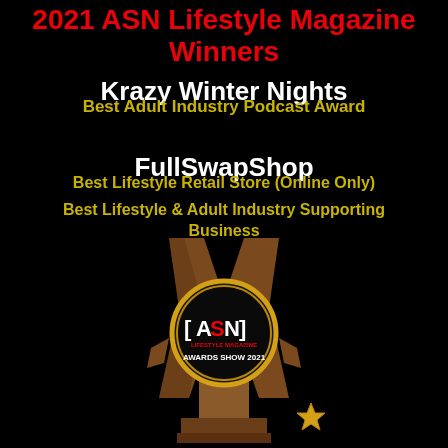2021 ASN Lifestyle Magazine Winners
Krazy Winter Nights
Best Adult Industry Podcast Award
FullSwapShop
Best Lifestyle Retail Store (Online Only)
Best Lifestyle & Adult Industry Supporting Business
[Figure (photo): ASN Lifestyle Magazine Awards Show 2021 trophy — a bronze angular star-shaped award with a black circular medallion bearing the ASN logo and text 'AWARDS SHOW 2021', and a gold star accent at the base.]